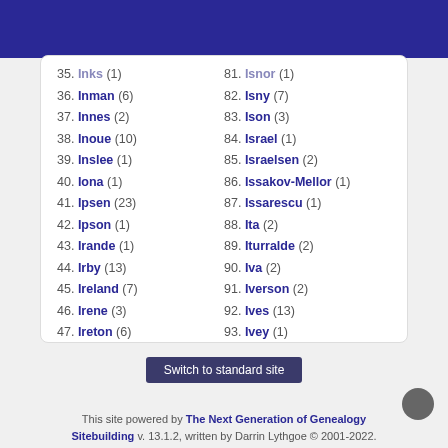35. Inks (1)
36. Inman (6)
37. Innes (2)
38. Inoue (10)
39. Inslee (1)
40. Iona (1)
41. Ipsen (23)
42. Ipson (1)
43. Irande (1)
44. Irby (13)
45. Ireland (7)
46. Irene (3)
47. Ireton (6)
48. Irion (1)
81. Isnor (1)
82. Isny (7)
83. Ison (3)
84. Israel (1)
85. Israelsen (2)
86. Issakov-Mellor (1)
87. Issarescu (1)
88. Ita (2)
89. Iturralde (2)
90. Iva (2)
91. Iverson (2)
92. Ives (13)
93. Ivey (1)
94. Ivie (1)
95. Ivory (1)
96. Izeboud (1)
Switch to standard site
This site powered by The Next Generation of Genealogy Sitebuilding v. 13.1.2, written by Darrin Lythgoe © 2001-2022.